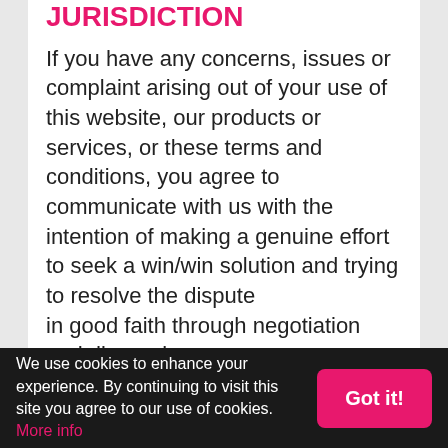JURISDICTION
If you have any concerns, issues or complaint arising out of your use of this website, our products or services, or these terms and conditions, you agree to communicate with us with the intention of making a genuine effort to seek a win/win solution and trying to resolve the dispute in good faith through negotiation and discussion.

Please email us at jocelyn@jocelynchong.com.au and expect a response within 2 business days
We use cookies to enhance your experience. By continuing to visit this site you agree to our use of cookies. More info